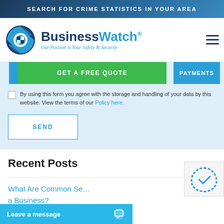SEARCH FOR CRIME STATISTICS IN YOUR AREA
[Figure (logo): BusinessWatch logo with checkered globe icon and tagline 'Our Passion is Your Safety & Security']
GET A FREE QUOTE
PAYMENTS
By using this form you agree with the storage and handling of your data by this website. View the terms of our Policy here.
SEND
Recent Posts
What Are Common Se... a Business?
Leave a message